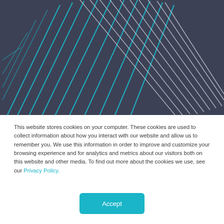[Figure (illustration): Abstract geometric graphic with overlapping diagonal lines forming a spherical/globe-like shape, rendered in cyan/blue and light gray tones against a dark blue-gray background]
This website stores cookies on your computer. These cookies are used to collect information about how you interact with our website and allow us to remember you. We use this information in order to improve and customize your browsing experience and for analytics and metrics about our visitors both on this website and other media. To find out more about the cookies we use, see our Privacy Policy.
Accept